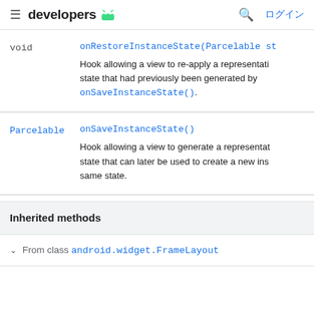≡ developers 🤖 🔍 ログイン
| Type | Method / Description |
| --- | --- |
| void | onRestoreInstanceState(Parcelable st
Hook allowing a view to re-apply a representati state that had previously been generated by onSaveInstanceState(). |
| Parcelable | onSaveInstanceState()
Hook allowing a view to generate a representat state that can later be used to create a new ins same state. |
Inherited methods
From class android.widget.FrameLayout